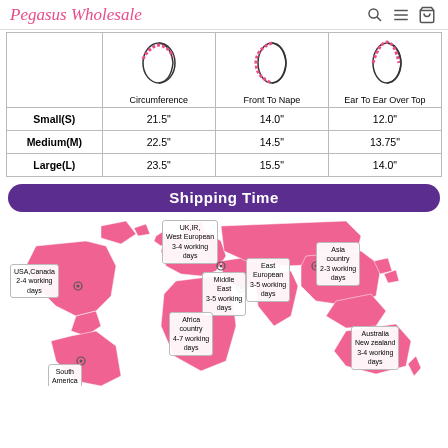Pegasus Wholesale
|  | Circumference | Front To Nape | Ear To Ear Over Top |
| --- | --- | --- | --- |
| Small(S) | 21.5" | 14.0" | 12.0" |
| Medium(M) | 22.5" | 14.5" | 13.75" |
| Large(L) | 23.5" | 15.5" | 14.0" |
Shipping Time
[Figure (map): World map showing shipping times by region: USA/Canada 2-4 working days, UK/IE/West European 3-4 working days, East European 3-5 working days, Asia country 2-3 working days, Middle East 3-5 working days, Africa country 4-7 working days, Australia/New Zealand 3-4 working days, South America (partially visible)]